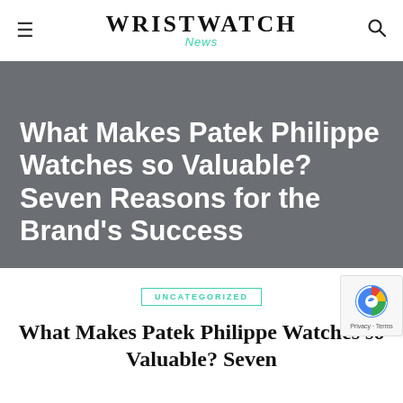WRISTWATCH News
What Makes Patek Philippe Watches so Valuable? Seven Reasons for the Brand's Success
UNCATEGORIZED
What Makes Patek Philippe Watches so Valuable? Seven